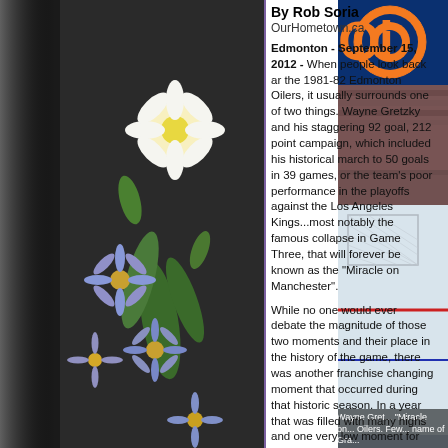[Figure (photo): Flowers photo on left side - purple/blue daisies and white/yellow flowers against dark background]
By Rob Soria
OurHometown.ca
Edmonton - September 15, 2012 - When people look back ar the 1981-82 Edmonton Oilers, it usually surrounds one of two things. Wayne Gretzky and his staggering 92 goal, 212 point campaign, which included his historical march to 50 goals in 39 games, or the team's poor performance in the playoffs against the Los Angeles Kings...most notably the famous collapse in Game Three, that will forever be known as the "Miracle on Manchester".
While no one would ever debate the magnitude of those two moments and their place in the history of the game, there was another franchise changing moment that occurred during that historic season. In a year that was filled with many highs and one very low moment for the young Edmonton Oilers, a key ingredient to the their future success arrived in town, a young netminder by the name of Grant Fuhr.
In a somewhat surprising move, the Oilers selected Fuhr with the eighth overall pick in the 1981 Entry Draft and just ahead of the New York Rangers, who thought very highly of the Victoria Cougars goaltender. Edmonton were coming off a stunning upset of the Montreal Canadiens in the first round of the playoffs and were backstopped by young rookie netminder Andy Moog.
[Figure (photo): Oilers hockey game photo with orange Oilers logo visible at top right]
Wayne Gret... "Miracle on... Oilers. Few... name of Gra...